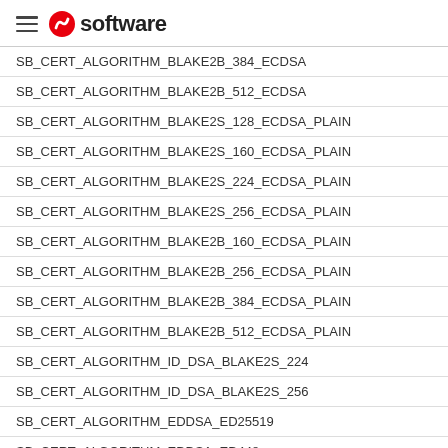software
SB_CERT_ALGORITHM_BLAKE2B_384_ECDSA
SB_CERT_ALGORITHM_BLAKE2B_512_ECDSA
SB_CERT_ALGORITHM_BLAKE2S_128_ECDSA_PLAIN
SB_CERT_ALGORITHM_BLAKE2S_160_ECDSA_PLAIN
SB_CERT_ALGORITHM_BLAKE2S_224_ECDSA_PLAIN
SB_CERT_ALGORITHM_BLAKE2S_256_ECDSA_PLAIN
SB_CERT_ALGORITHM_BLAKE2B_160_ECDSA_PLAIN
SB_CERT_ALGORITHM_BLAKE2B_256_ECDSA_PLAIN
SB_CERT_ALGORITHM_BLAKE2B_384_ECDSA_PLAIN
SB_CERT_ALGORITHM_BLAKE2B_512_ECDSA_PLAIN
SB_CERT_ALGORITHM_ID_DSA_BLAKE2S_224
SB_CERT_ALGORITHM_ID_DSA_BLAKE2S_256
SB_CERT_ALGORITHM_EDDSA_ED25519
SB_CERT_ALGORITHM_EDDSA_ED448
SB_CERT_ALGORITHM_EDDSA_ED25519_PH
SB_CERT_ALGORITHM_EDDSA_ED448_PH